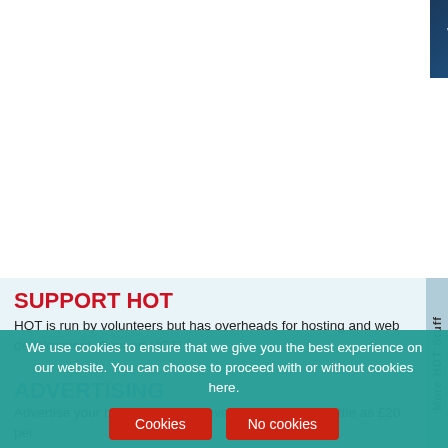[Figure (other): Advertisement banner for White Rock Theatre event: Weds 21st Sept 2022 | 7.30pm whiterocktheatre.org.uk, dark blue gradient background with white text]
SUPPORT HOT
HOT is run by volunteers but has overheads for hosting and web development. Support HOT!
ADVERTISING
Advertise your business or your event on HOT for as little as £20 per
We use cookies to ensure that we give you the best experience on our website. You can choose to proceed with or without cookies here.